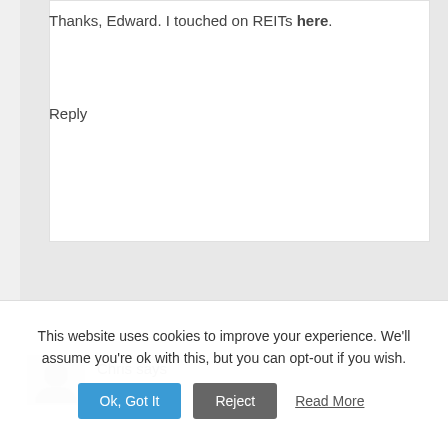Thanks, Edward. I touched on REITs here.
Reply
Chris says
This website uses cookies to improve your experience. We'll assume you're ok with this, but you can opt-out if you wish.
Ok, Got It  Reject  Read More